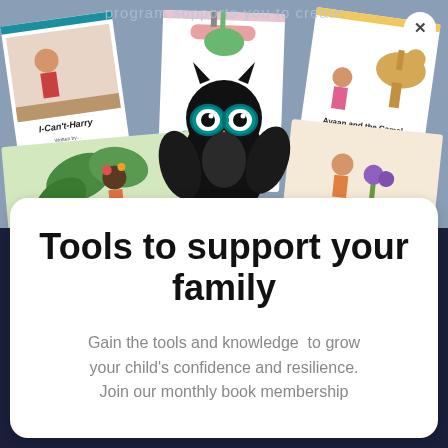program supports you to create
[Figure (photo): Photo of several children's books fanned out with titles including 'I-Can't-Harry', 'The Worry', and 'Ayaan and the Camel', with a black owl stuffed toy wearing teal glasses in the center. Books display WiseSize branding.]
Tools to support your family
Gain the tools and knowledge  to grow your child's confidence and resilience. Join our monthly book membership